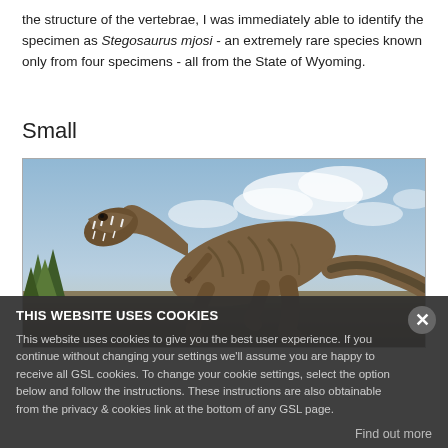the structure of the vertebrae, I was immediately able to identify the specimen as Stegosaurus mjosi - an extremely rare species known only from four specimens - all from the State of Wyoming.
Small
[Figure (photo): Photo of a large theropod dinosaur (T-rex-like) in a running pose with open mouth showing teeth, rendered in a realistic 3D style against a cloudy sky background with green foliage in lower left.]
THIS WEBSITE USES COOKIES
This website uses cookies to give you the best user experience. If you continue without changing your settings we'll assume you are happy to receive all GSL cookies. To change your cookie settings, select the option below and follow the instructions. These instructions are also obtainable from the privacy & cookies link at the bottom of any GSL page.
Find out more